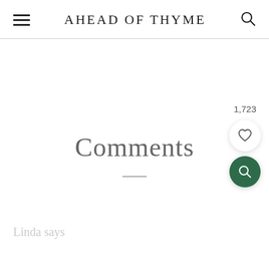AHEAD OF THYME
Comments
1,723
Linda says